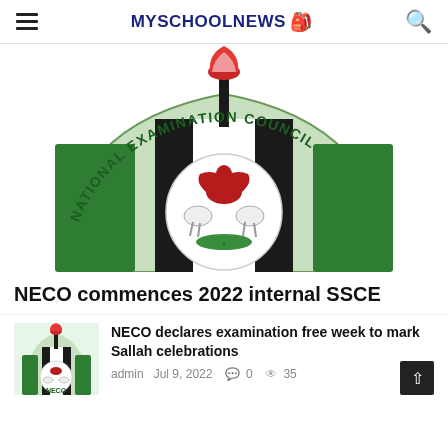MYSCHOOLNEWS
[Figure (logo): National Examination Council (NECO) logo - large banner image showing the NECO seal with Nigerian coat of arms, green and white colors, with text 'NATIONAL EXAMINATION COUNCIL' curved around the top]
NECO commences 2022 internal SSCE
[Figure (logo): Small NECO logo thumbnail showing the National Examination Council seal]
NECO declares examination free week to mark Sallah celebrations
admin  Jul 9, 2022  0  35